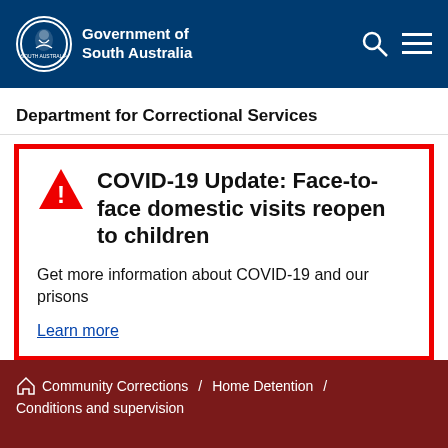Government of South Australia
Department for Correctional Services
COVID-19 Update: Face-to-face domestic visits reopen to children
Get more information about COVID-19 and our prisons
Learn more
Home / Community Corrections / Home Detention / Conditions and supervision